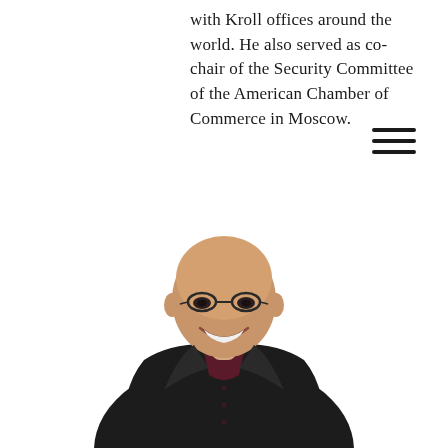with Kroll offices around the world. He also served as co-chair of the Security Committee of the American Chamber of Commerce in Moscow.
[Figure (photo): Professional headshot of a bald man wearing glasses, smiling broadly, dressed in a dark blazer over a burgundy/dark red shirt, photographed against a white background, leaning forward slightly]